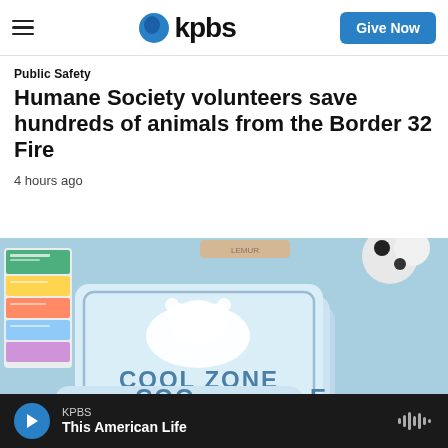KPBS | Give Now
Public Safety
Humane Society volunteers save hundreds of animals from the Border 32 Fire
4 hours ago
[Figure (photo): Close-up photo of blue 'COOL ZONE' cards with a polar bear graphic on them, alongside colorful informational cards and a plush toy in the background.]
KPBS | This American Life